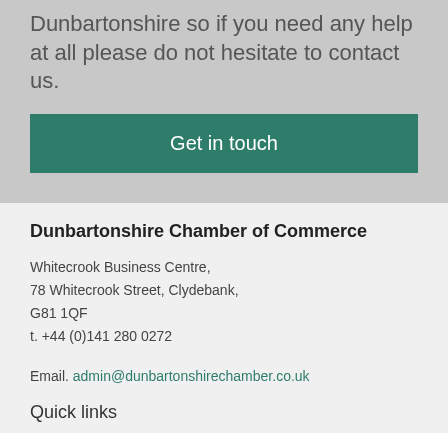Dunbartonshire so if you need any help at all please do not hesitate to contact us.
Get in touch
Dunbartonshire Chamber of Commerce
Whitecrook Business Centre,
78 Whitecrook Street, Clydebank,
G81 1QF
t. +44 (0)141 280 0272
Email. admin@dunbartonshirechamber.co.uk
Quick links